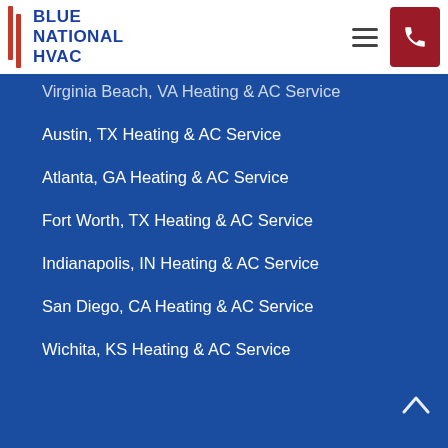BLUE NATIONAL HVAC
Virginia Beach, VA Heating & AC Service
Austin, TX Heating & AC Service
Atlanta, GA Heating & AC Service
Fort Worth, TX Heating & AC Service
Indianapolis, IN Heating & AC Service
San Diego, CA Heating & AC Service
Wichita, KS Heating & AC Service